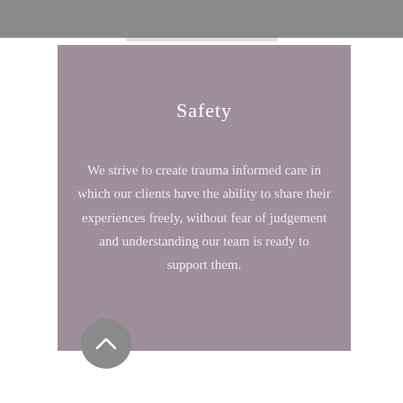Safety
We strive to create trauma informed care in which our clients have the ability to share their experiences freely, without fear of judgement and understanding our team is ready to support them.